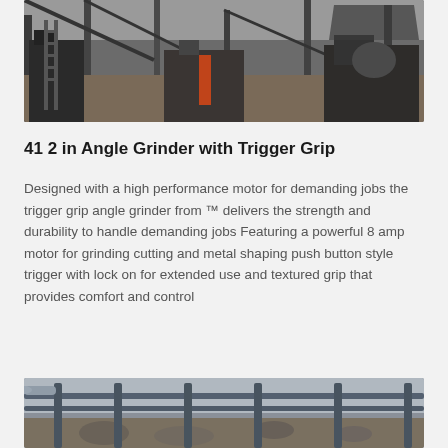[Figure (photo): Industrial factory interior with heavy machinery, metal frames, and grinding/milling equipment on a concrete floor]
41 2 in Angle Grinder with Trigger Grip
Designed with a high performance motor for demanding jobs the trigger grip angle grinder from ™ delivers the strength and durability to handle demanding jobs Featuring a powerful 8 amp motor for grinding cutting and metal shaping push button style trigger with lock on for extended use and textured grip that provides comfort and control
[Figure (photo): Industrial metal railing or scaffolding structure with rocks/gravel visible below, outdoors]